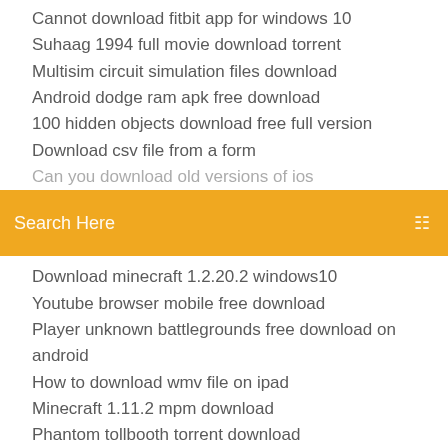Cannot download fitbit app for windows 10
Suhaag 1994 full movie download torrent
Multisim circuit simulation files download
Android dodge ram apk free download
100 hidden objects download free full version
Download csv file from a form
Can you download old versions of ios
[Figure (screenshot): Orange search bar with text 'Search Here' and a menu icon on the right]
Download minecraft 1.2.20.2 windows10
Youtube browser mobile free download
Player unknown battlegrounds free download on android
How to download wmv file on ipad
Minecraft 1.11.2 mpm download
Phantom tollbooth torrent download
How to download facebook chat conversation on pc
How to download mp4 using a link
Who to download youtube video in pc
Baraha 8.0 free download full version